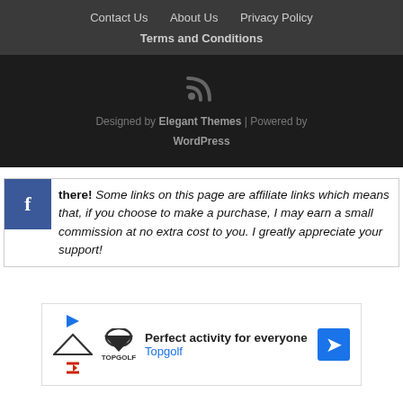Contact Us   About Us   Privacy Policy   Terms and Conditions
Designed by Elegant Themes | Powered by WordPress
Hey there! Some links on this page are affiliate links which means that, if you choose to make a purchase, I may earn a small commission at no extra cost to you. I greatly appreciate your support!
[Figure (other): Topgolf advertisement banner: Perfect activity for everyone — Topgolf logo with navigation arrows]